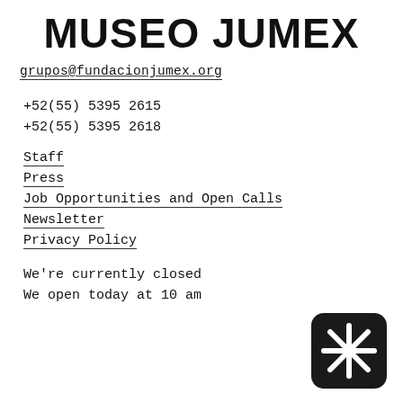MUSEO JUMEX
grupos@fundacionjumex.org
+52(55) 5395 2615
+52(55) 5395 2618
Staff
Press
Job Opportunities and Open Calls
Newsletter
Privacy Policy
We're currently closed
We open today at 10 am
[Figure (logo): Museo Jumex asterisk/snowflake logo mark — white asterisk on black rounded-square background]